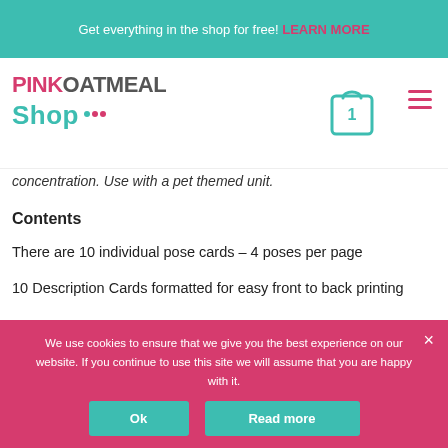Get everything in the shop for free! LEARN MORE
[Figure (logo): Pink Oatmeal Shop logo with teal shopping bag icon showing '1' and hamburger menu icon]
concentration. Use with a pet themed unit.
Contents
There are 10 individual pose cards – 4 poses per page
10 Description Cards formatted for easy front to back printing
We use cookies to ensure that we give you the best experience on our website. If you continue to use this site we will assume that you are happy with it.